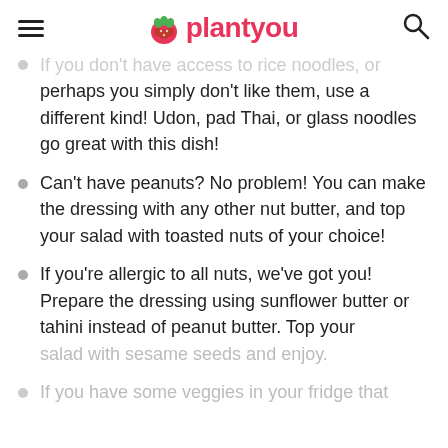plantyou
If you don't have access to rice noodles, or perhaps you simply don't like them, use a different kind! Udon, pad Thai, or glass noodles go great with this dish!
Can't have peanuts? No problem! You can make the dressing with any other nut butter, and top your salad with toasted nuts of your choice!
If you're allergic to all nuts, we've got you! Prepare the dressing using sunflower butter or tahini instead of peanut butter. Top your salad with sesame seeds and enjoy.
If you have some veggies in your fridge that